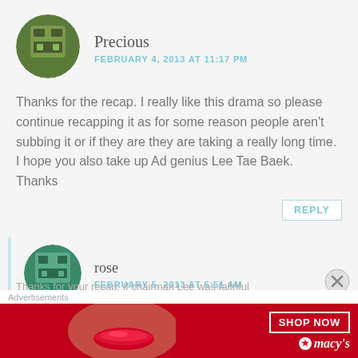[Figure (illustration): Pixel art avatar icon of user 'Precious' — circular green background with gray pixel robot/character face]
Precious
FEBRUARY 4, 2013 AT 11:17 PM
Thanks for the recap. I really like this drama so please continue recapping it as for some reason people aren't subbing it or if they are they are taking a really long time.
I hope you also take up Ad genius Lee Tae Baek.
Thanks
REPLY
[Figure (illustration): Pixel art avatar icon of user 'rose' — circular teal/green background with gray pixel robot/character face]
rose
FEBRUARY 5, 2013 AT 5:51 AM
Thanks for your recap. If chairman Lee was faithful
Advertisements
[Figure (photo): Macy's advertisement banner: red background, text 'KISS BORING LIPS GOODBYE', photo of woman's face with red lipstick, SHOP NOW button, Macy's star logo]